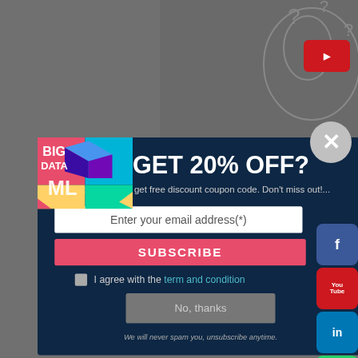[Figure (screenshot): Website popup overlay on a dark gray background. The popup has a dark navy background with a colorful Big Data / ML logo on the left, and contains: headline 'GET 20% OFF?', subtitle text 'Subscribe now to get free discount coupon code. Don't miss out!...', an email input field, a pink SUBSCRIBE button, a checkbox with 'I agree with the term and condition', a 'No, thanks' button, and fine print 'We will never spam you, unsubscribe anytime.' Social media icons (Facebook, YouTube, LinkedIn, WhatsApp, Xing) appear on the right edge. Tags at the bottom show 'predictive model', 'linear regression', 'prediction of time', 'prediction of cost'.]